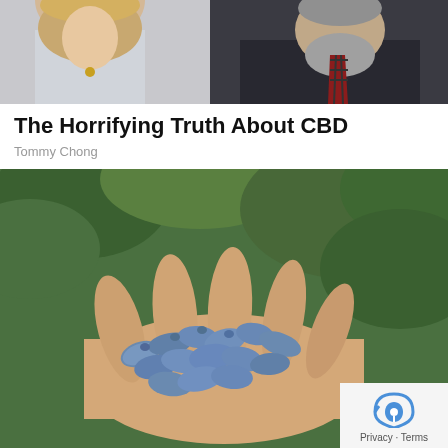[Figure (photo): Photo of a man and woman, the woman has curly blonde hair wearing a light sweater and necklace, the man has a gray beard wearing a dark blazer with a plaid tie]
The Horrifying Truth About CBD
Tommy Chong
[Figure (photo): Close-up photo of a hand holding several elongated blue-purple berries (honeyberries/haskap) against a green leafy background]
Privacy · Terms